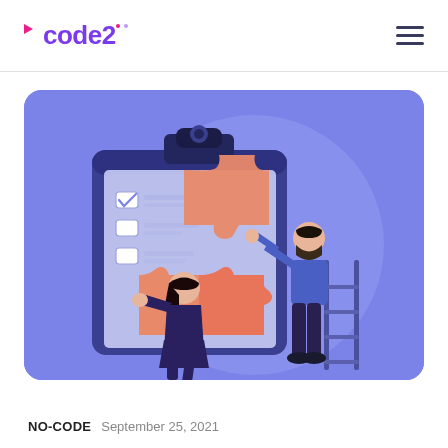code2
[Figure (illustration): Two people assembling large puzzle pieces in front of a clipboard with checklist. The background is a blue-purple gradient. One woman pushes a puzzle piece from the left; one man on a ladder places a piece from the top right.]
NO-CODE  September 25, 2021